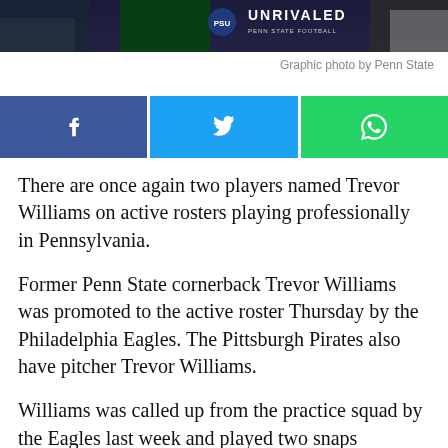[Figure (photo): Penn State Football 'Unrivaled' promotional graphic showing players in Eagles green jersey and Penn State gear, with Penn State shield logo and 'UNRIVALED' text.]
Graphic photo by Penn State
[Figure (infographic): Social media share buttons: Facebook (blue), Twitter (light blue), WhatsApp (green)]
There are once again two players named Trevor Williams on active rosters playing professionally in Pennsylvania.
Former Penn State cornerback Trevor Williams was promoted to the active roster Thursday by the Philadelphia Eagles. The Pittsburgh Pirates also have pitcher Trevor Williams.
Williams was called up from the practice squad by the Eagles last week and played two snaps